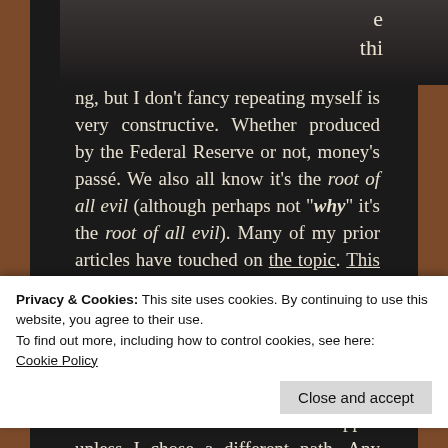[Figure (photo): Partial photo at top of article showing a dark blurred indoor scene]
e thi
ng, but I don't fancy repeating myself is very constructive. Whether produced by the Federal Reserve or not, money's passé. We also all know it's the root of all evil (although perhaps not "why" it's the root of all evil). Many of my prior articles have touched on the topic. This one in particular goes some way towards exploring primary issues. Nevertheless I concluded the standalone title "interest in interest" was insufficient for that cause. It needed to be widened or scrapped unless I chose a different path. Any form of censorship (however remote) is destruction of the
Privacy & Cookies: This site uses cookies. By continuing to use this website, you agree to their use.
To find out more, including how to control cookies, see here: Cookie Policy
Close and accept